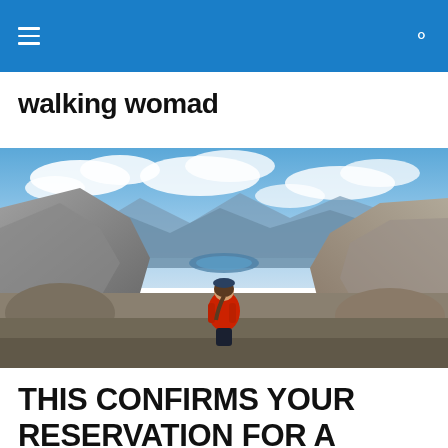walking womad navigation bar
walking womad
[Figure (photo): A woman in a red jacket stands on a rocky mountain summit overlooking a vast panoramic landscape with mountains, a small lake, and blue sky with clouds.]
THIS CONFIRMS YOUR RESERVATION FOR A WILDERNESS PERMIT